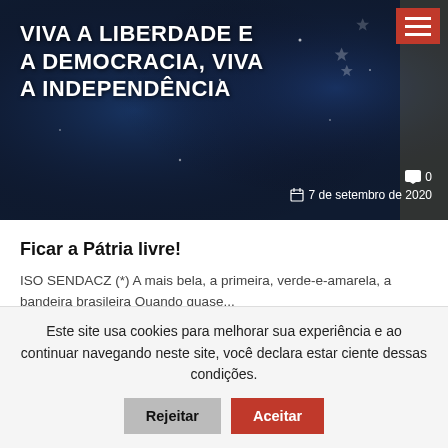[Figure (photo): Dark blue patriotic background with stars suggesting Brazilian and American flags, overlaid with bold white uppercase text reading 'VIVA A LIBERDADE E A DEMOCRACIA, VIVA A INDEPENDÊNCIA'. A hamburger menu icon appears in the top-right in red. Bottom-right shows a comment icon with '0' and a calendar icon with '7 de setembro de 2020'.]
Ficar a Pátria livre!
ISO SENDACZ (*) A mais bela, a primeira, verde-e-amarela, a bandeira brasileira Quando quase...
[Figure (photo): Dark background card with a red badge labeled 'Política' on the left side.]
Este site usa cookies para melhorar sua experiência e ao continuar navegando neste site, você declara estar ciente dessas condições.